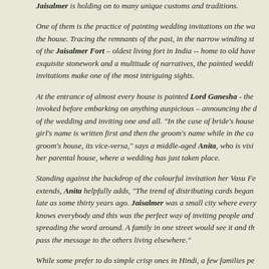Jaisalmer is holding on to many unique customs and traditions.
One of them is the practice of painting wedding invitations on the walls of the house. Tracing the remnants of the past, in the narrow winding streets of the Jaisalmer Fort – oldest living fort in India -- home to old havelis with exquisite stonework and a multitude of narratives, the painted wedding invitations make one of the most intriguing sights.
At the entrance of almost every house is painted Lord Ganesha - the deity invoked before embarking on anything auspicious – announcing the details of the wedding and inviting one and all. "In the case of bride's house, the girl's name is written first and then the groom's name while in the case of groom's house, its vice-versa," says a middle-aged Anita, who is visiting her parental house, where a wedding has just taken place.
Standing against the backdrop of the colourful invitation her Vasu Fe... extends, Anita helpfully adds, "The trend of distributing cards began as late as some thirty years ago. Jaisalmer was a small city where everybody knows everybody and this was the perfect way of inviting people and spreading the word around. A family in one street would see it and then pass the message to the others living elsewhere."
While some prefer to do simple crisp ones in Hindi, a few families pe... up with amusing one-liners. The residents claim it's a tradition that's specific to Jaisalmer in Rajasthan but something that cuts across different Hindu castes and sects living there. According to Tarachand Vyas, th...